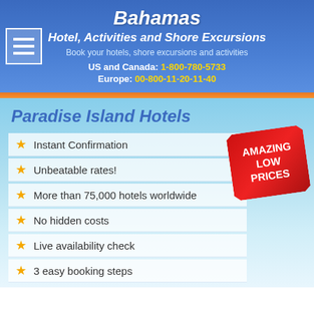Bahamas
Hotel, Activities and Shore Excursions
Book your hotels, shore excursions and activities
US and Canada: 1-800-780-5733
Europe: 00-800-11-20-11-40
Paradise Island Hotels
Instant Confirmation
Unbeatable rates!
More than 75,000 hotels worldwide
No hidden costs
Live availability check
3 easy booking steps